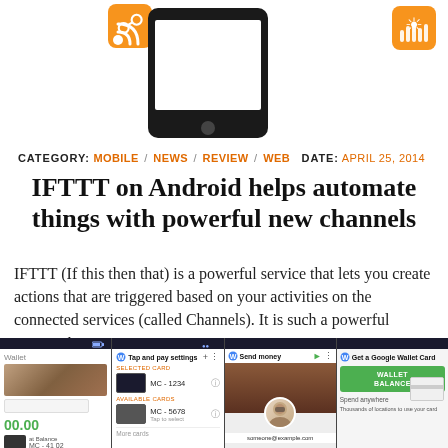[Figure (screenshot): Smartphone with RSS and SoundCloud icons on top, showing IFTTT app interface]
CATEGORY: MOBILE / NEWS / REVIEW / WEB  DATE: APRIL 25, 2014
IFTTT on Android helps automate things with powerful new channels
IFTTT (If this then that) is a powerful service that lets you create actions that are triggered based on your activities on the connected services (called Channels). It is such a powerful service that...
[Figure (screenshot): Four Android screenshots of Google Wallet app showing Tap and pay settings, Send money screen with avatar and $25.00 amount, and Get a Google Wallet Card screen]